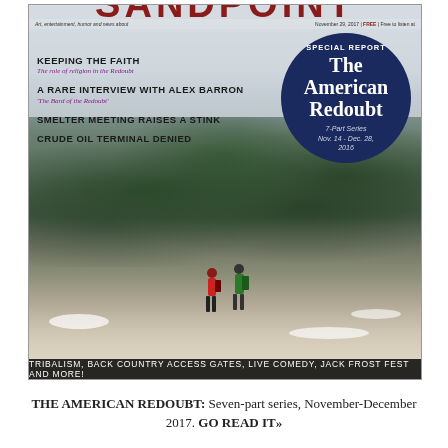[Figure (photo): Magazine cover featuring two hikers walking along a snowy mountain trail with tall evergreen trees and misty mountain peaks in the background. The cover includes headlines about topics such as religion in the Redoubt, an interview with Alex Barron, smelter meeting, and crude oil terminal. A large navy blue circle badge reads 'SPECIAL REPORT The American Redoubt 7-Part Series Nov. 14 - Dec. 28, 2016'. A red masthead is partially visible at the top. Bottom bar reads 'TRIBALISM, BACK COUNTRY ACCESS GATES, LIVE COMEDY, JACK FROST FEST AND MORE!']
THE AMERICAN REDOUBT: Seven-part series, November-December 2017. GO READ IT»